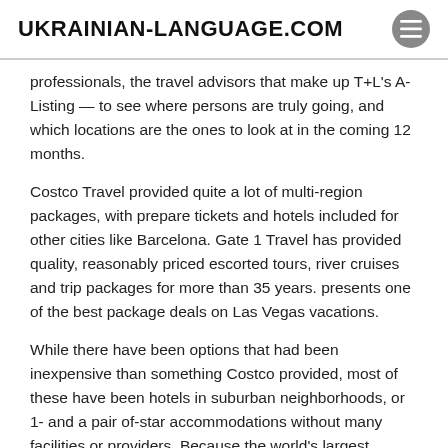UKRAINIAN-LANGUAGE.COM
professionals, the travel advisors that make up T+L's A-Listing — to see where persons are truly going, and which locations are the ones to look at in the coming 12 months.
Costco Travel provided quite a lot of multi-region packages, with prepare tickets and hotels included for other cities like Barcelona. Gate 1 Travel has provided quality, reasonably priced escorted tours, river cruises and trip packages for more than 35 years. presents one of the best package deals on Las Vegas vacations.
While there have been options that had been inexpensive than something Costco provided, most of these have been hotels in suburban neighborhoods, or 1- and a pair of-star accommodations without many facilities or providers. Because the world's largest student and youth travel company, we've been reserving inexpensive adventures for awesome